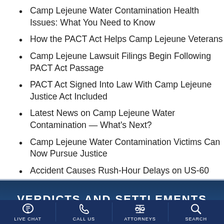Camp Lejeune Water Contamination Health Issues: What You Need to Know
How the PACT Act Helps Camp Lejeune Veterans
Camp Lejeune Lawsuit Filings Begin Following PACT Act Passage
PACT Act Signed Into Law With Camp Lejeune Justice Act Included
Latest News on Camp Lejeune Water Contamination — What's Next?
Camp Lejeune Water Contamination Victims Can Now Pursue Justice
Accident Causes Rush-Hour Delays on US-60 Near Dobson Ranch
VERDICTS AND SETTLEMENTS
LIVE CHAT  CALL US  ATTORNEYS  SEARCH